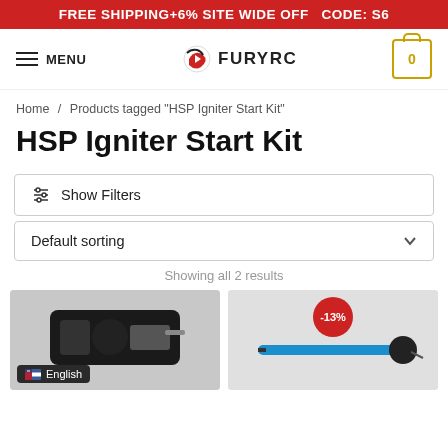FREE SHIPPING+6% SITE WIDE OFF  CODE: S6
[Figure (logo): FuryRC logo with navigation menu button and shopping cart icon showing 0 items]
Home / Products tagged "HSP Igniter Start Kit"
HSP Igniter Start Kit
Show Filters
Default sorting
Showing all 2 results
[Figure (photo): Product photo of an HSP igniter start kit device (black) with English language selector overlay]
[Figure (photo): Product photo of an HSP igniter start kit (blue wand/stick style) with -13% discount badge]